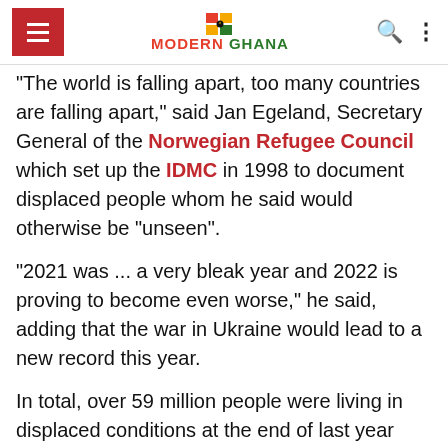Modern Ghana
"The world is falling apart, too many countries are falling apart," said Jan Egeland, Secretary General of the Norwegian Refugee Council which set up the IDMC in 1998 to document displaced people whom he said would otherwise be "unseen".
"2021 was ... a very bleak year and 2022 is proving to become even worse," he said, adding that the war in Ukraine would lead to a new record this year.
In total, over 59 million people were living in displaced conditions at the end of last year compared with 55 million people in 2020.
Ukraine war has diverted IDP aid